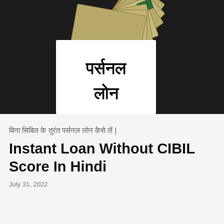[Figure (photo): Photo of Indian Rupee currency notes fanned out behind a white envelope with Hindi text 'पर्सनल लोन' (Personal Loan) written on it, against a dark background.]
बिना सिबिल के तुरंत पर्सनल लोन कैसे लें | Instant Loan Without CIBIL Score In Hindi
July 31, 2022